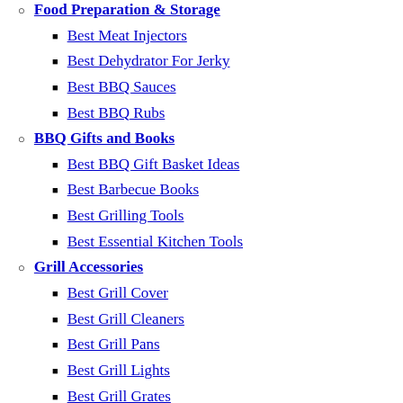Food Preparation & Storage
Best Meat Injectors
Best Dehydrator For Jerky
Best BBQ Sauces
Best BBQ Rubs
BBQ Gifts and Books
Best BBQ Gift Basket Ideas
Best Barbecue Books
Best Grilling Tools
Best Essential Kitchen Tools
Grill Accessories
Best Grill Cover
Best Grill Cleaners
Best Grill Pans
Best Grill Lights
Best Grill Grates
Best Grill Mats
Best Smoker Box for Gas Grill
Best Grill Brushes
Best BBQ Gloves
Best Wood Pellets for Smoking
Best Cold Smoke Generators
Best Charcoal Chimney Starter
Knives and Sharpeners
Best Meat Slicers